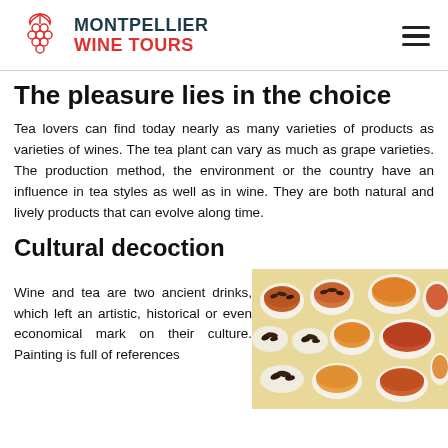MONTPELLIER WINE TOURS
The pleasure lies in the choice
Tea lovers can find today nearly as many varieties of products as varieties of wines. The tea plant can vary as much as grape varieties. The production method, the environment or the country have an influence in tea styles as well as in wine. They are both natural and lively products that can evolve along time.
Cultural decoction
Wine and tea are two ancient drinks, which left an artistic, historical or even economical mark on their culture. Painting is full of references
[Figure (photo): Multiple white ceramic cups and bowls filled with various types of tea leaves and brewed tea in different shades of amber and orange, arranged on a light surface.]